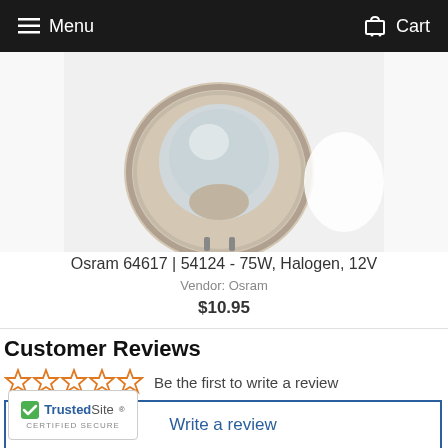Menu  Cart
[Figure (photo): Product photo of an Osram halogen lamp bulb, MR16 type, shown from above at an angle, with a beige/cream plastic base and reflector cup]
Osram 64617 | 54124 - 75W, Halogen, 12V
Vendor: Osram
$10.95
Customer Reviews
Be the first to write a review
Write a review
[Figure (logo): TrustedSite Certified Secure badge with green checkmark]